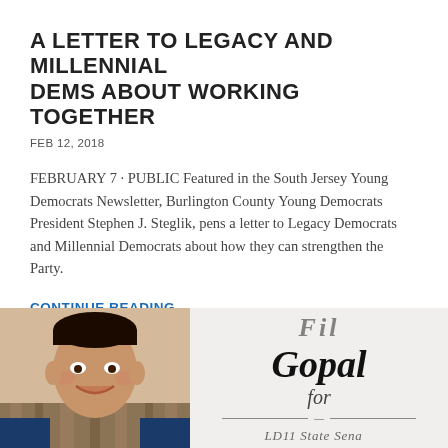A LETTER TO LEGACY AND MILLENNIAL DEMS ABOUT WORKING TOGETHER
FEB 12, 2018
FEBRUARY 7 · PUBLIC Featured in the South Jersey Young Democrats Newsletter, Burlington County Young Democrats President Stephen J. Steglik, pens a letter to Legacy Democrats and Millennial Democrats about how they can strengthen the Party.
CONTINUE READING
[Figure (photo): Photo of a smiling man in a striped shirt, partially visible at bottom left, alongside a campaign card reading 'Gopal for [LD11 State Senate?]']